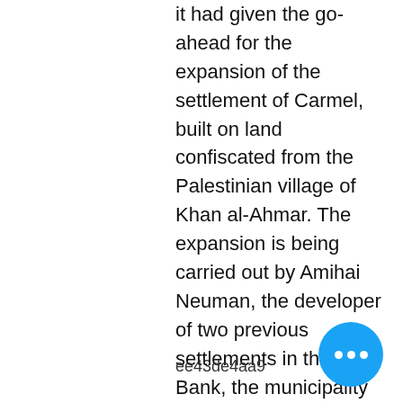it had given the go-ahead for the expansion of the settlement of Carmel, built on land confiscated from the Palestinian village of Khan al-Ahmar. The expansion is being carried out by Amihai Neuman, the developer of two previous settlements in the West Bank, the municipality of Ma'aleh Adumim and the settlement of Givat Zeev. In April, Mr. Netanyahu authorized his attorney general, Avichai Mandelblit, to block the construction of at least six housing units in the village.
The Israeli Ministry of Defense said that the Netanyahu administration had decided to allow
ee43de4aa9